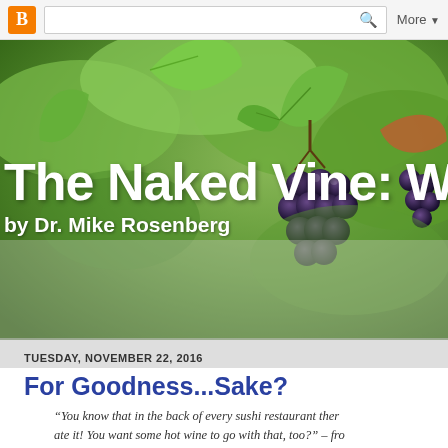B [search bar] More ▼
[Figure (photo): Background photo of grape vine with clusters of dark purple grapes and green leaves]
The Naked Vine: Wine Ad
by Dr. Mike Rosenberg
TUESDAY, NOVEMBER 22, 2016
For Goodness...Sake?
“You know that in the back of every sushi restaurant there ate it! You want some hot wine to go with that, too?” – fro Williams”
I remember hearing that line at my friend Dave’s way back in th how to set the tuner on his VCR to get access to free HBO. Co Metal ensued.